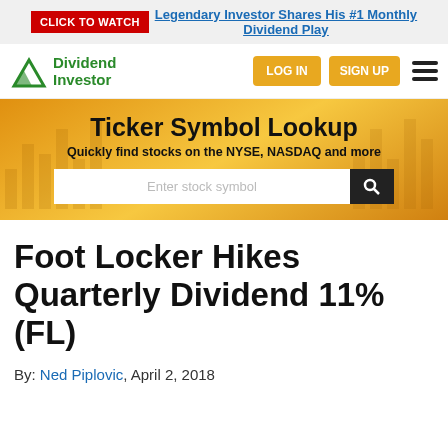CLICK TO WATCH Legendary Investor Shares His #1 Monthly Dividend Play
[Figure (logo): Dividend Investor logo with green mountain/arrow icon and text]
LOG IN  SIGN UP
[Figure (infographic): Ticker Symbol Lookup banner with orange gradient background, search input field and search button]
Foot Locker Hikes Quarterly Dividend 11% (FL)
By: Ned Piplovic, April 2, 2018